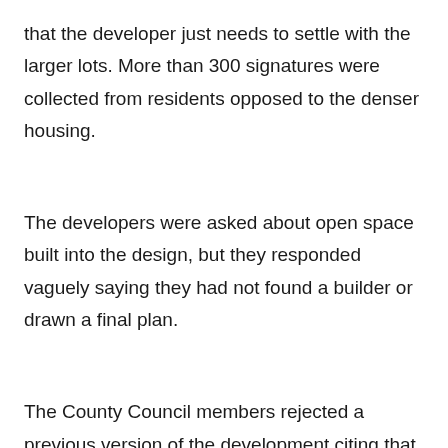that the developer just needs to settle with the larger lots. More than 300 signatures were collected from residents opposed to the denser housing.
The developers were asked about open space built into the design, but they responded vaguely saying they had not found a builder or drawn a final plan.
The County Council members rejected a previous version of the development citing that Furr Road just could not handle all the traffic. The developer got around that by adding assistance to pay for road improvements.